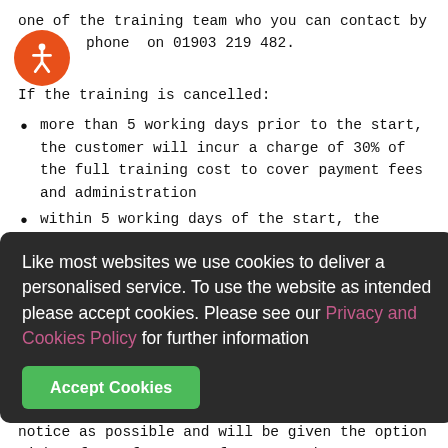one of the training team who you can contact by phone on 01903 219 482.
[Figure (logo): Orange circular accessibility icon with a white stick figure person symbol]
If the training is cancelled:
more than 5 working days prior to the start, the customer will incur a charge of 30% of the full training cost to cover payment fees and administration
within 5 working days of the start, the customer will incur a charge of 50% of the full training cost
on the day or we do not receive any notification of cancellation please, the customer will incur no charges
On occasion, unforeseen circumstances may require us to cancel a course. In such circumstances, customers will be given as much notice as possible and will be given the option either for a free transfer to another course date or a for full refund
Like most websites we use cookies to deliver a personalised service. To use the website as intended please accept cookies. Please see our Privacy and Cookies Policy for further information
Accept Cookies